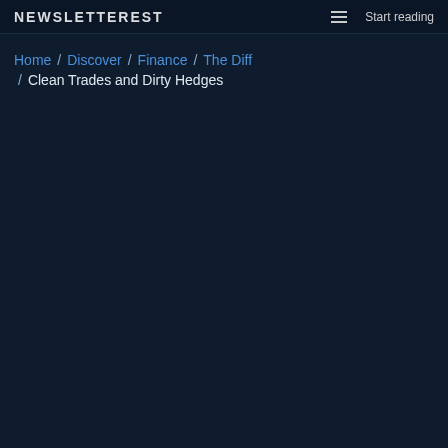NEWSLETTEREST / ☰ / Start reading
Home / Discover / Finance / The Diff / Clean Trades and Dirty Hedges